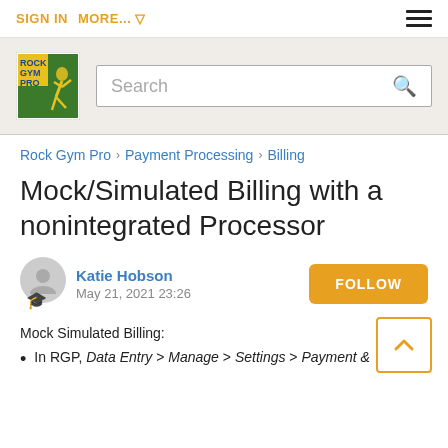SIGN IN   MORE... ▾
[Figure (logo): Rock Gym Pro logo — green and yellow square with climber silhouette]
Search
Rock Gym Pro › Payment Processing › Billing
Mock/Simulated Billing with a nonintegrated Processor
Katie Hobson
May 21, 2021 23:26
Mock Simulated Billing:
In RGP, Data Entry > Manage > Settings > Payment &